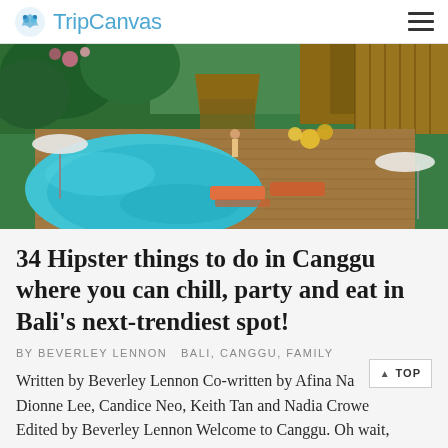TripCanvas
[Figure (photo): Aerial view of a luxury Balinese resort in Canggu with a curved turquoise swimming pool, wooden deck with sun loungers, thatched-roof bungalows, and lush tropical garden]
34 Hipster things to do in Canggu where you can chill, party and eat in Bali's next-trendiest spot!
BY BEVERLEY LENNON  BALI, CANGGU, FAMILY
Written by Beverley Lennon Co-written by Afina Na_ Dionne Lee, Candice Neo, Keith Tan and Nadia Crowe Edited by Beverley Lennon Welcome to Canggu. Oh wait,